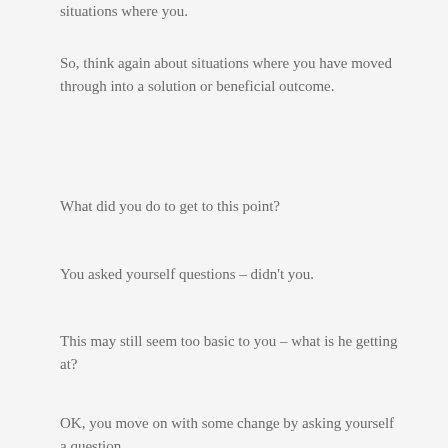situations where you.
So, think again about situations where you have moved through into a solution or beneficial outcome.
What did you do to get to this point?
You asked yourself questions – didn't you.
This may still seem too basic to you – what is he getting at?
OK, you move on with some change by asking yourself a question.